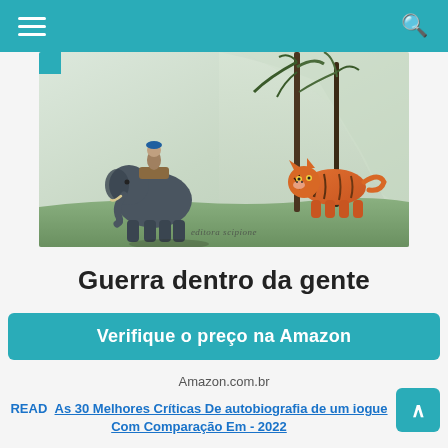Navigation bar with hamburger menu and search icon
[Figure (illustration): Book cover illustration showing an elephant with a rider and a tiger in a jungle/nature scene with palm trees and cliffs. Text 'editora scipione' visible at bottom.]
Guerra dentro da gente
Verifique o preço na Amazon
Amazon.com.br
READ  As 30 Melhores Críticas De autobiografia de um iogue Com Comparação Em - 2022